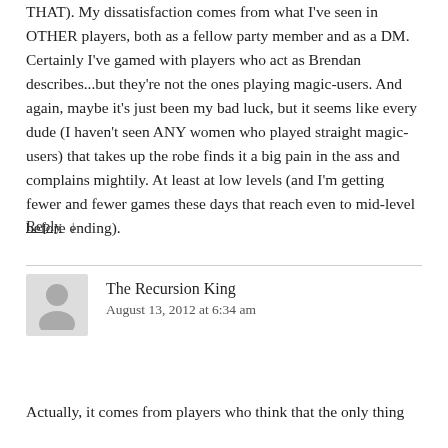THAT). My dissatisfaction comes from what I've seen in OTHER players, both as a fellow party member and as a DM. Certainly I've gamed with players who act as Brendan describes...but they're not the ones playing magic-users. And again, maybe it's just been my bad luck, but it seems like every dude (I haven't seen ANY women who played straight magic-users) that takes up the robe finds it a big pain in the ass and complains mightily. At least at low levels (and I'm getting fewer and fewer games these days that reach even to mid-level before ending).
Reply ↓
The Recursion King
August 13, 2012 at 6:34 am
Actually, it comes from players who think that the only thing